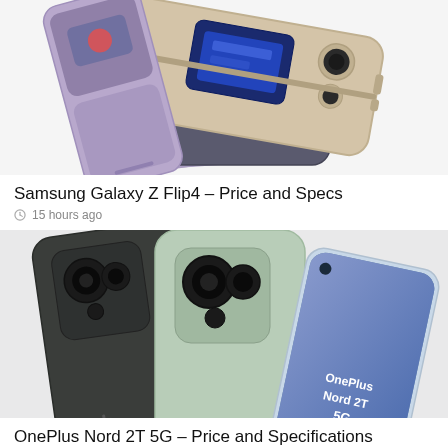[Figure (photo): Multiple Samsung Galaxy Z Flip4 phones stacked, showing folded form factor in lavender, gold/beige, and dark colors, with one showing the cover screen with a blue display.]
Samsung Galaxy Z Flip4 – Price and Specs
15 hours ago
[Figure (photo): Three OnePlus Nord 2T 5G smartphones shown from the back and front, in dark grey/black and mint/sage green colors, with the front-facing device showing the OnePlus Nord 2T 5G logo on screen.]
OnePlus Nord 2T 5G – Price and Specifications